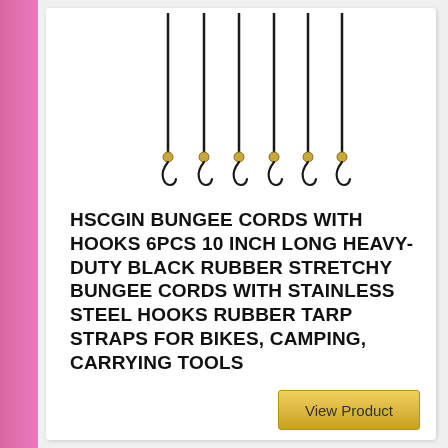[Figure (photo): Six black rubber bungee cords with stainless steel hooks, arranged side by side hanging from top]
HSCGIN BUNGEE CORDS WITH HOOKS 6PCS 10 INCH LONG HEAVY-DUTY BLACK RUBBER STRETCHY BUNGEE CORDS WITH STAINLESS STEEL HOOKS RUBBER TARP STRAPS FOR BIKES, CAMPING, CARRYING TOOLS
View Product